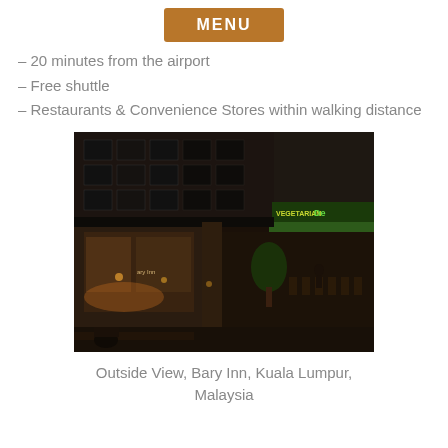MENU
– 20 minutes from the airport
– Free shuttle
– Restaurants & Convenience Stores within walking distance
[Figure (photo): Night exterior view of Bary Inn building in Kuala Lumpur, Malaysia. A multi-story dark building with illuminated storefronts, signage including green 'De' sign, plants, outdoor seating visible on the right side.]
Outside View, Bary Inn, Kuala Lumpur, Malaysia